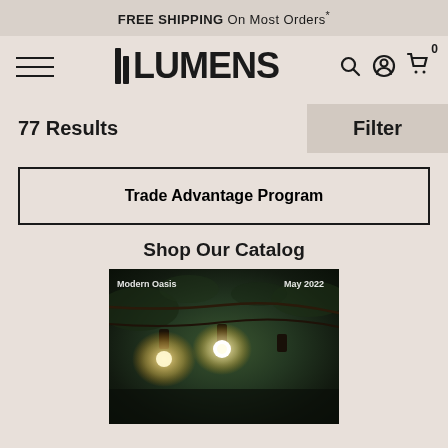FREE SHIPPING On Most Orders*
[Figure (logo): Lumens logo with hamburger menu, search, account and cart icons]
77 Results
Filter
Trade Advantage Program
Shop Our Catalog
[Figure (photo): Catalog image showing outdoor string lights with 'Modern Oasis' and 'May 2022' overlays]